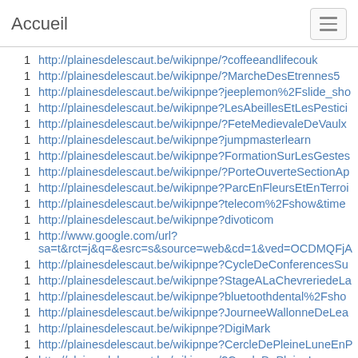Accueil
1  http://plainesdelescaut.be/wikipnpe/?coffeeandlifecouk
1  http://plainesdelescaut.be/wikipnpe/?MarcheDesEtrennes5
1  http://plainesdelescaut.be/wikipnpe?jeeplemon%2Fslide_sho
1  http://plainesdelescaut.be/wikipnpe?LesAbeillesEtLesPestici
1  http://plainesdelescaut.be/wikipnpe/?FeteMedievaleDeVaulx
1  http://plainesdelescaut.be/wikipnpe?jumpmasterlearn
1  http://plainesdelescaut.be/wikipnpe?FormationSurLesGestes
1  http://plainesdelescaut.be/wikipnpe/?PorteOuverteSectionAp
1  http://plainesdelescaut.be/wikipnpe?ParcEnFleursEtEnTerroi
1  http://plainesdelescaut.be/wikipnpe?telecom%2Fshow&time
1  http://plainesdelescaut.be/wikipnpe?divoticom
1  http://www.google.com/url?sa=t&rct=j&q=&esrc=s&source=web&cd=1&ved=OCDMQFjA
1  http://plainesdelescaut.be/wikipnpe?CycleDeConferencesSu
1  http://plainesdelescaut.be/wikipnpe?StageALaChevreriedeLa
1  http://plainesdelescaut.be/wikipnpe?bluetoothdental%2Fsho
1  http://plainesdelescaut.be/wikipnpe?JourneeWallonneDeLea
1  http://plainesdelescaut.be/wikipnpe?DigiMark
1  http://plainesdelescaut.be/wikipnpe?CercleDePleineLuneEnP
1  http://plainesdelescaut.be/wikipnpe/?CercleDePleineLune